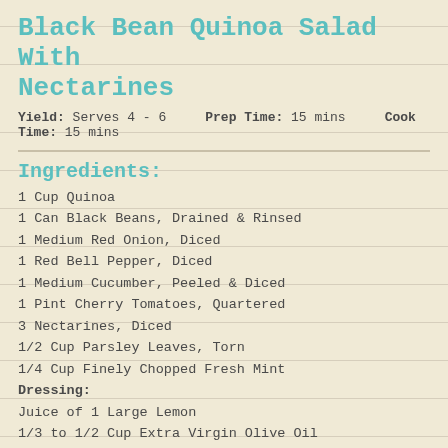Black Bean Quinoa Salad With Nectarines
Yield: Serves 4 - 6    Prep Time: 15 mins    Cook Time: 15 mins
Ingredients:
1 Cup Quinoa
1 Can Black Beans, Drained & Rinsed
1 Medium Red Onion, Diced
1 Red Bell Pepper, Diced
1 Medium Cucumber, Peeled & Diced
1 Pint Cherry Tomatoes, Quartered
3 Nectarines, Diced
1/2 Cup Parsley Leaves, Torn
1/4 Cup Finely Chopped Fresh Mint
Dressing:
Juice of 1 Large Lemon
1/3 to 1/2 Cup Extra Virgin Olive Oil
Salt & Pepper To Taste
Directions:
In a saucepan, combine the quinoa with 2 cups of water and a pinch of